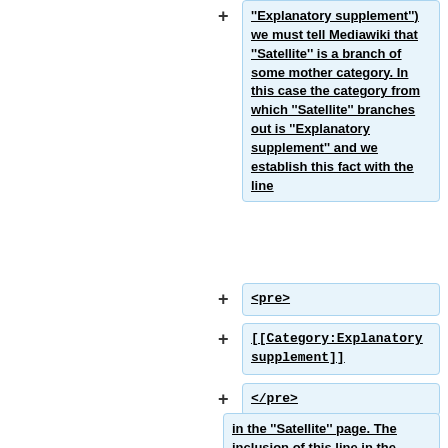''Explanatory supplement'') we must tell Mediawiki that ''Satellite'' is a branch of some mother category. In this case the category from which ''Satellite'' branches out is ''Explanatory supplement'' and we establish this fact with the line
<pre>
[[Category:Explanatory supplement]]
</pre>
in the ''Satellite'' page. The inclusion of this line in the ''Satellite'' category page will also guarantee an entry will be